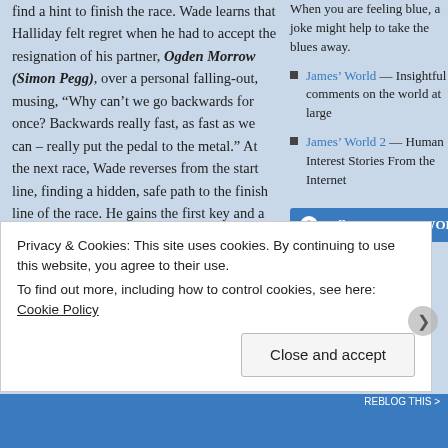find a hint to finish the race. Wade learns that Halliday felt regret when he had to accept the resignation of his partner, Ogden Morrow (Simon Pegg), over a personal falling-out, musing, “Why can’t we go backwards for once? Backwards really fast, as fast as we can – really put the pedal to the metal.” At the next race, Wade reverses from the start line, finding a hidden, safe path to the finish line of the race. He gains the first key and a clue to the next quest. Aech and Art3mis, as well as players Daito (Win Morisaki) and Sho (Philip Zhao), follow Wade to finish the quest, and the five
When you are feeling blue, a joke might help to take the blues away.
James’ World — Insightful comments on the world at large
James’ World 2 — Human Interest Stories From the Internet
Follow CAROL’s WOR
Privacy & Cookies: This site uses cookies. By continuing to use this website, you agree to their use.
To find out more, including how to control cookies, see here: Cookie Policy
Close and accept